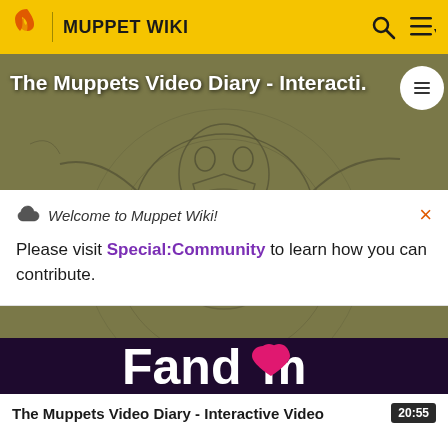MUPPET WIKI
[Figure (screenshot): Video thumbnail showing sketch/storyboard art of Kermit the Frog with arms spread wide, olive/brown toned background. Video title overlay reads 'The Muppets Video Diary - Interacti.' with a playlist icon button top right.]
Welcome to Muppet Wiki!
Please visit Special:Community to learn how you can contribute.
The Muppets Video Diary - Interactive Video  20:55
[Figure (logo): Fandom logo in white on dark purple/maroon background with a heart icon replacing the 'o' in Fandom]
EXPLORE PROPERTIES